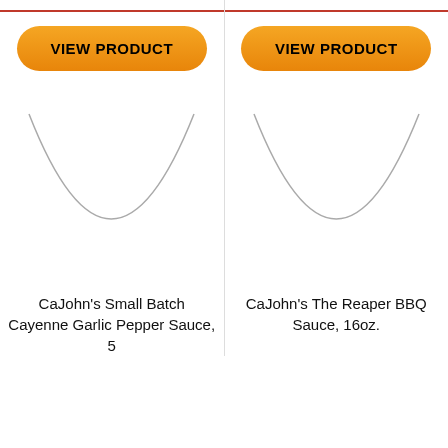[Figure (screenshot): Two product cards side by side. Left: orange 'VIEW PRODUCT' button, partial circular product image (bottom arc visible), product name 'CaJohn's Small Batch Cayenne Garlic Pepper Sauce, 5...' Right: orange 'VIEW PRODUCT' button, partial circular product image (bottom arc visible), product name 'CaJohn's The Reaper BBQ Sauce, 16oz.']
CaJohn's Small Batch Cayenne Garlic Pepper Sauce, 5
CaJohn's The Reaper BBQ Sauce, 16oz.